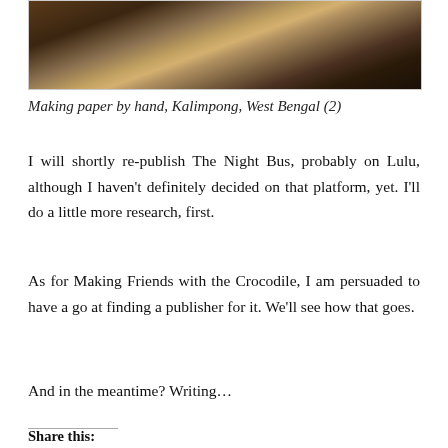[Figure (photo): Dark-toned photograph showing paper-making equipment or tools in Kalimpong, West Bengal]
Making paper by hand, Kalimpong, West Bengal (2)
I will shortly re-publish The Night Bus, probably on Lulu, although I haven't definitely decided on that platform, yet. I'll do a little more research, first.
As for Making Friends with the Crocodile, I am persuaded to have a go at finding a publisher for it. We'll see how that goes.
And in the meantime? Writing…
Share this: